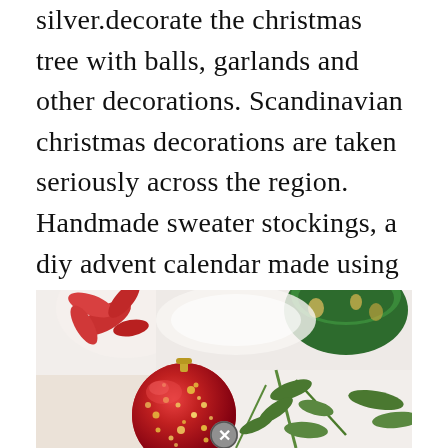silver.decorate the christmas tree with balls, garlands and other decorations. Scandinavian christmas decorations are taken seriously across the region. Handmade sweater stockings, a diy advent calendar made using galvanized pails, and boxwood chair markers are just a few of the inspired ideas you'll find on this list.
[Figure (photo): Christmas scene showing a red glittery ornament ball in the foreground with greenery (evergreen branches), and decorated bowls/dishes in the background. A close/dismiss button is visible at the bottom center.]